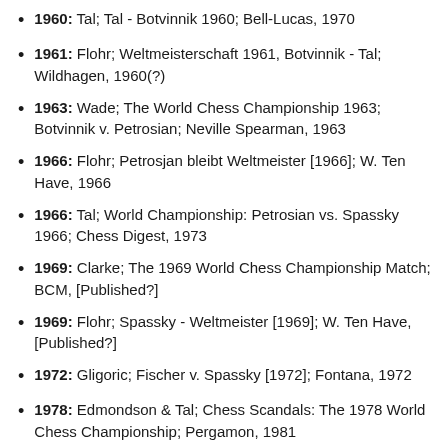1960: Tal; Tal - Botvinnik 1960; Bell-Lucas, 1970
1961: Flohr; Weltmeisterschaft 1961, Botvinnik - Tal; Wildhagen, 1960(?)
1963: Wade; The World Chess Championship 1963; Botvinnik v. Petrosian; Neville Spearman, 1963
1966: Flohr; Petrosjan bleibt Weltmeister [1966]; W. Ten Have, 1966
1966: Tal; World Championship: Petrosian vs. Spassky 1966; Chess Digest, 1973
1969: Clarke; The 1969 World Chess Championship Match; BCM, [Published?]
1969: Flohr; Spassky - Weltmeister [1969]; W. Ten Have, [Published?]
1972: Gligoric; Fischer v. Spassky [1972]; Fontana, 1972
1978: Edmondson & Tal; Chess Scandals: The 1978 World Chess Championship; Pergamon, 1981